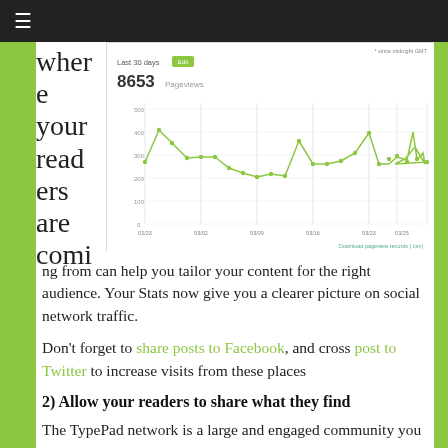≡
where your readers are coming from can help you tailor your content for the right audience. Your Stats now give you a clearer picture on social network traffic.
[Figure (line-chart): WordPress stats showing pageviews over last 30 days, ranging roughly 200-400 per day, from 02/23 to 03/25. Note: * since midnight GMT. Download pageview records (.csv) link at bottom.]
Don't forget to share posts to Facebook, and cross post to Twitter to increase visits from these places
2) Allow your readers to share what they find
The TypePad network is a large and engaged community you shouldn't overlook. Adding the new